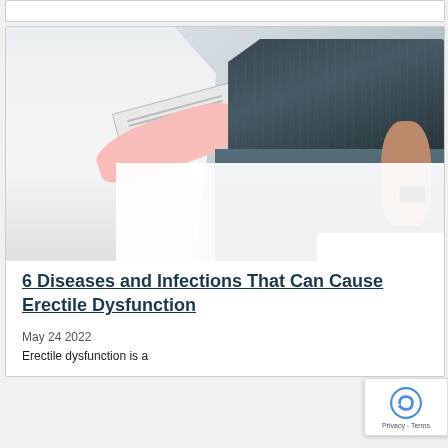[Figure (photo): Doctor in white coat holding clipboard consulting with a male patient in dark blue plaid shirt seated on a stool, clinical setting]
6 Diseases and Infections That Can Cause Erectile Dysfunction
May 24 2022
Erectile dysfunction is a